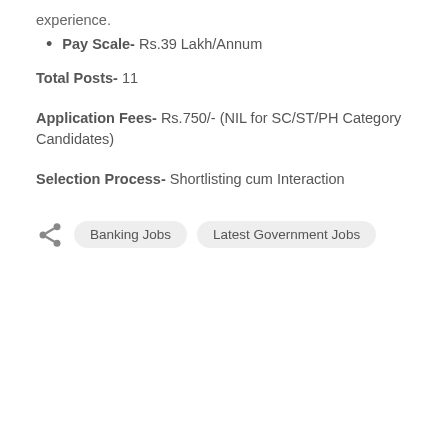experience.
Pay Scale- Rs.39 Lakh/Annum
Total Posts- 11
Application Fees- Rs.750/- (NIL for SC/ST/PH Category Candidates)
Selection Process- Shortlisting cum Interaction
Banking Jobs  Latest Government Jobs